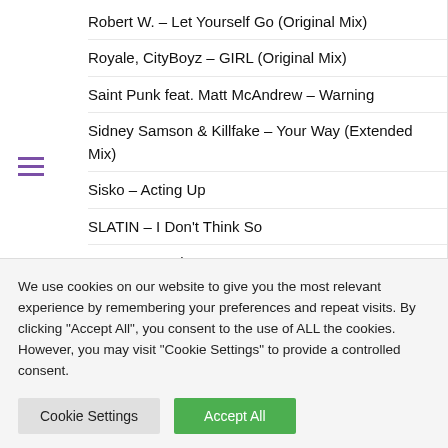Robert W. – Let Yourself Go (Original Mix)
Royale, CityBoyz – GIRL (Original Mix)
Saint Punk feat. Matt McAndrew – Warning
Sidney Samson & Killfake – Your Way (Extended Mix)
Sisko – Acting Up
SLATIN – I Don't Think So
SLATIN – Rude Boy
Soldera, Rooftime – Shoot The Fool (Original Mix)
Spinstyles – Crazy (CloudNine Short Edit) (Dirty)
We use cookies on our website to give you the most relevant experience by remembering your preferences and repeat visits. By clicking "Accept All", you consent to the use of ALL the cookies. However, you may visit "Cookie Settings" to provide a controlled consent.